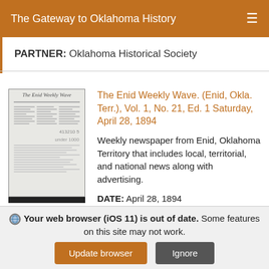The Gateway to Oklahoma History
PARTNER: Oklahoma Historical Society
[Figure (photo): Thumbnail image of The Enid Weekly Wave newspaper front page, a blurry black and white historic newspaper scan]
The Enid Weekly Wave. (Enid, Okla. Terr.), Vol. 1, No. 21, Ed. 1 Saturday, April 28, 1894
Weekly newspaper from Enid, Oklahoma Territory that includes local, territorial, and national news along with advertising.
DATE: April 28, 1894
Your web browser (iOS 11) is out of date. Some features on this site may not work.